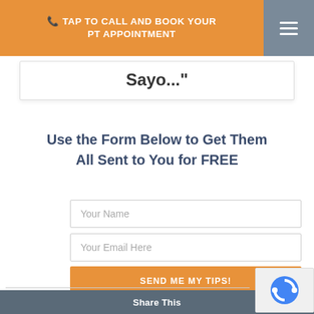TAP TO CALL AND BOOK YOUR PT APPOINTMENT
Sayo..."
Use the Form Below to Get Them All Sent to You for FREE
Your Name
Your Email Here
SEND ME MY TIPS!
Back Pain: Why You Need To Drink More Water To Help Relieve It